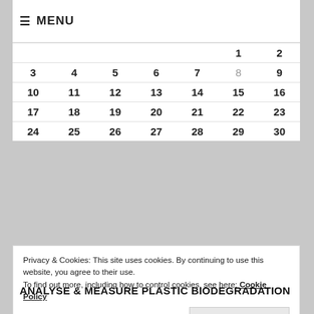≡ MENU
|  |  |  |  |  |  |  |
| --- | --- | --- | --- | --- | --- | --- |
|  |  |  |  |  | 1 | 2 |
| 3 | 4 | 5 | 6 | 7 | 8 | 9 |
| 10 | 11 | 12 | 13 | 14 | 15 | 16 |
| 17 | 18 | 19 | 20 | 21 | 22 | 23 |
| 24 | 25 | 26 | 27 | 28 | 29 | 30 |
Privacy & Cookies: This site uses cookies. By continuing to use this website, you agree to their use.
To find out more, including how to control cookies, see here: Cookie Policy
Close and accept
ANALYSE & MEASURE PLASTIC BIODEGRADATION